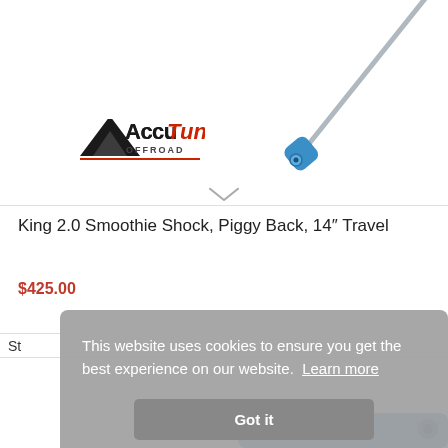[Figure (photo): Shock absorber product image with AccuTune Offroad logo]
King 2.0 Smoothie Shock, Piggy Back, 14″ Travel
$425.00
St
This website uses cookies to ensure you get the best experience on our website. Learn more
Got it